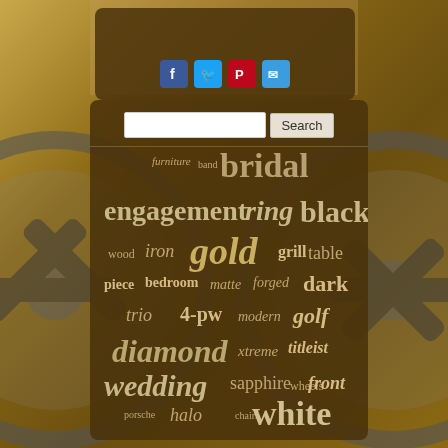[Figure (screenshot): Website screenshot with brown/gold themed background showing a speaker/wheel image behind a search panel with social share icons and a tag cloud of keywords]
[Figure (other): Social share buttons: Facebook, Twitter, Pinterest, Email]
Search
[Figure (infographic): Tag cloud with words: furniture, band, bridal, engagement, ring, black, wood, iron, gold, grill, table, piece, bedroom, matte, forged, dark, trio, 4-pw, modern, golf, diamond, xtreme, titleist, wedding, sapphire, wheels, front, porsche, halo, chairs, white, finish]